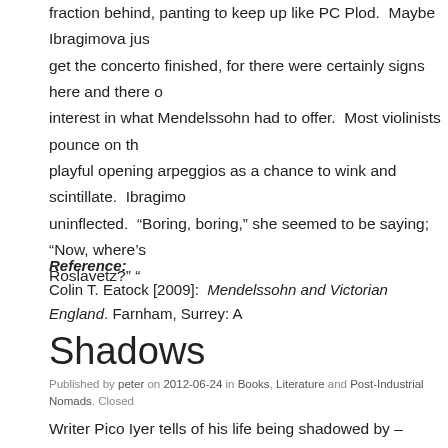fraction behind, panting to keep up like PC Plod.  Maybe Ibragimova jus get the concerto finished, for there were certainly signs here and there o interest in what Mendelssohn had to offer.  Most violinists pounce on th playful opening arpeggios as a chance to wink and scintillate.  Ibragimo uninflected.  “Boring, boring,” she seemed to be saying; “Now, where’s Roslavetz?” “
Reference:
Colin T. Eatock [2009]:  Mendelssohn and Victorian England. Farnham, Surrey: A
Shadows
Published by peter on 2012-06-24 in Books, Literature and Post-Industrial Nomads. Closed
Writer Pico Iyer tells of his life being shadowed by – followed and pre-figured by t Graham Greene, here. I’m no fan of Greene’s writing, but the shadowing I can ap writers have spoken of similar shadowing and even possession – William Burrou Highsmith, Hilary Mantel, Antonio Tabucchi, for instance. Highsmith’s Ripley, she was a real spiritual presence, existent outside her books and her imagination.